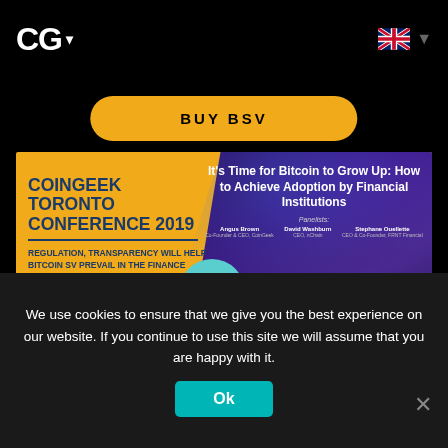CG ▾
BUY BSV
[Figure (screenshot): CoinGeek Toronto Conference 2019 event banner with yellow left panel showing conference name and subtitle 'REGULATION, TRANSPARENCY WILL HELP BITCOIN SV PREVAIL IN THE FINANCE WORLD', CG circle logo in center, and dark right panel showing panel session titled 'It's Time for Bitcoin to Grow Up: How to Achieve Adoption by Financial Institutions' with panelists Angus Brown, David Washburn, Stephane Ouellette seated on stage]
We use cookies to ensure that we give you the best experience on our website. If you continue to use this site we will assume that you are happy with it.
Ok